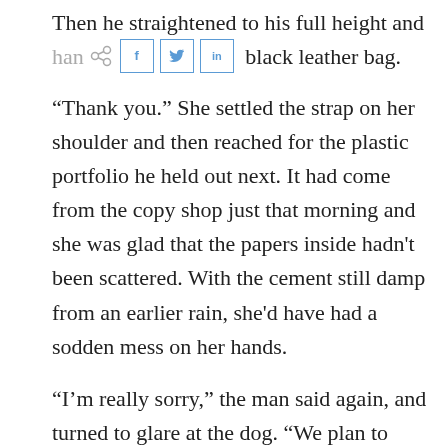Then he straightened to his full height and handed her black leather bag.
“Thank you.” She settled the strap on her shoulder and then reached for the plastic portfolio he held out next. It had come from the copy shop just that morning and she was glad that the papers inside hadn't been scattered. With the cement still damp from an earlier rain, she'd have had a sodden mess on her hands.
“I’m really sorry,” the man said again, and turned to glare at the dog. “We plan to take obedience classes as soon as he overcomes some of his fears. Right now I think it would put too much